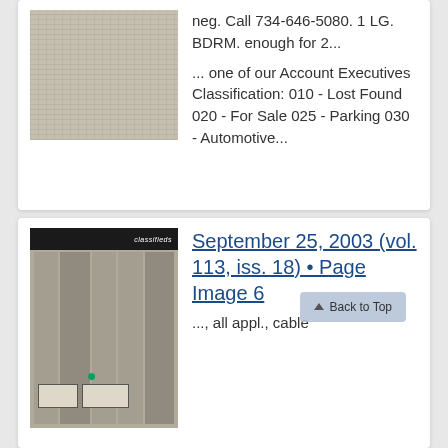[Figure (photo): Thumbnail of a newspaper classifieds page, partially visible at top]
neg. Call 734-646-5080. 1 LG. BDRM. enough for 2...
... one of our Account Executives Classification: 010 - Lost Found 020 - For Sale 025 - Parking 030 - Automotive...
[Figure (photo): Thumbnail of a newspaper classifieds page dated September 25, 2003]
September 25, 2003 (vol. 113, iss. 18) • Page Image 6
..., all appl., cable